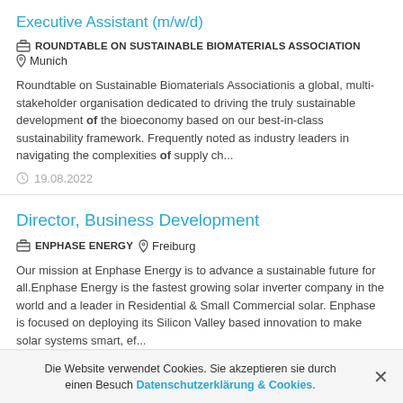Executive Assistant (m/w/d)
ROUNDTABLE ON SUSTAINABLE BIOMATERIALS ASSOCIATION   Munich
Roundtable on Sustainable Biomaterials Associationis a global, multi-stakeholder organisation dedicated to driving the truly sustainable development of the bioeconomy based on our best-in-class sustainability framework. Frequently noted as industry leaders in navigating the complexities of supply ch...
19.08.2022
Director, Business Development
ENPHASE ENERGY   Freiburg
Our mission at Enphase Energy is to advance a sustainable future for all.Enphase Energy is the fastest growing solar inverter company in the world and a leader in Residential & Small Commercial solar. Enphase is focused on deploying its Silicon Valley based innovation to make solar systems smart, ef...
Die Website verwendet Cookies. Sie akzeptieren sie durch einen Besuch Datenschutzerklärung & Cookies.